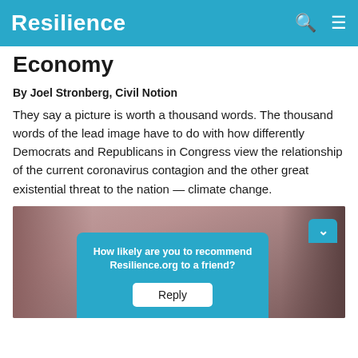Resilience
Economy
By Joel Stronberg, Civil Notion
They say a picture is worth a thousand words. The thousand words of the lead image have to do with how differently Democrats and Republicans in Congress view the relationship of the current coronavirus contagion and the other great existential threat to the nation — climate change.
[Figure (photo): A photograph showing a landscape scene, partially obscured by a survey overlay widget asking 'How likely are you to recommend Resilience.org to a friend?' with a Reply button.]